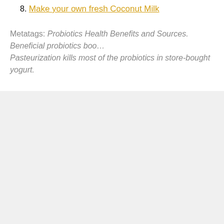8. Make your own fresh Coconut Milk
Metatags: Probiotics Health Benefits and Sources. Beneficial probiotics boo… Pasteurization kills most of the probiotics in store-bought yogurt.